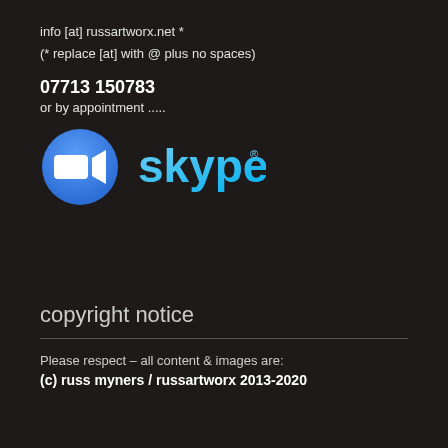info [at] russartworx.net *
(* replace [at] with @ plus no spaces)
07713 150783
or by appointment .....
[Figure (logo): Zoom video camera icon (blue circle with white video camera symbol) and Skype logo (blue text 'skype' with registered trademark symbol in gradient blue tones)]
copyright notice
Please respect – all content & images are:
(c) russ myners / russartworx 2013-2020